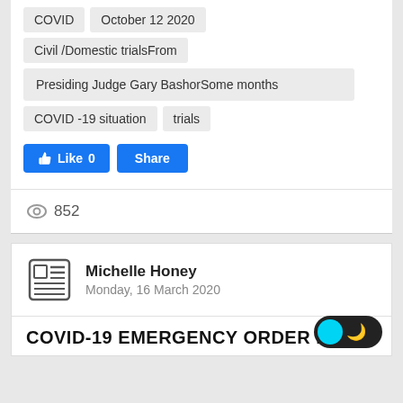COVID   October 12 2020
Civil /Domestic trialsFrom
Presiding Judge Gary BashorSome months
COVID -19 situation   trials
[Figure (screenshot): Facebook Like 0 and Share buttons]
852
Michelle Honey
Monday, 16 March 2020
COVID-19 EMERGENCY ORDER N